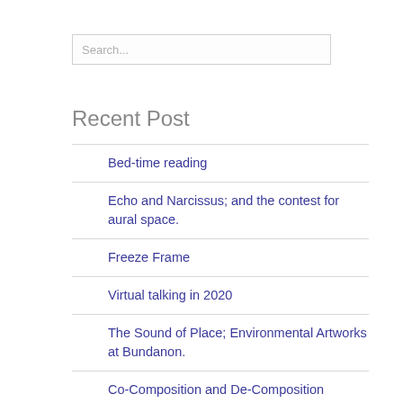Search...
Recent Post
Bed-time reading
Echo and Narcissus; and the contest for aural space.
Freeze Frame
Virtual talking in 2020
The Sound of Place; Environmental Artworks at Bundanon.
Co-Composition and De-Composition Biological agency as a compositional tool.
Semi-Automatic Writing: An Opera for Human and Machine Voices.
Culturescape:An Ecology of Bundanon